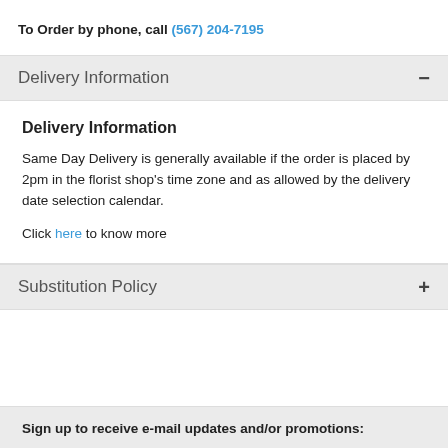To Order by phone, call (567) 204-7195
Delivery Information −
Delivery Information
Same Day Delivery is generally available if the order is placed by 2pm in the florist shop's time zone and as allowed by the delivery date selection calendar.
Click here to know more
Substitution Policy +
Sign up to receive e-mail updates and/or promotions: